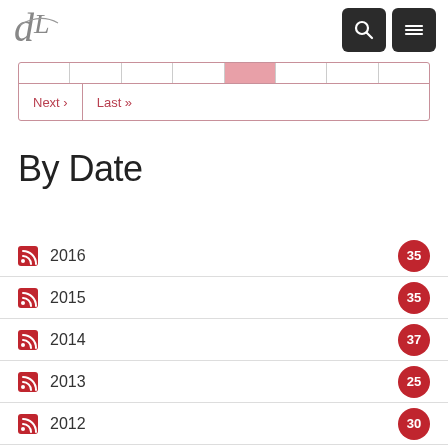DL logo with search and menu buttons
Next › Last »
By Date
2016  35
2015  35
2014  37
2013  25
2012  30
2011  37